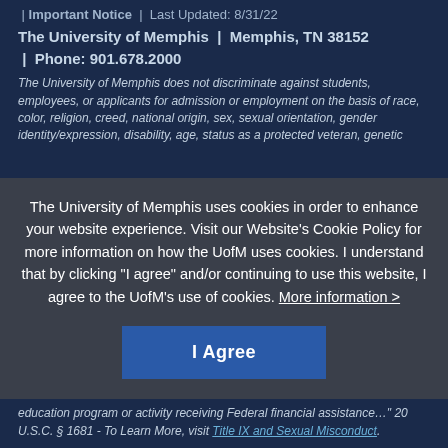| Important Notice | Last Updated: 8/31/22
The University of Memphis | Memphis, TN 38152 | Phone: 901.678.2000
The University of Memphis does not discriminate against students, employees, or applicants for admission or employment on the basis of race, color, religion, creed, national origin, sex, sexual orientation, gender identity/expression, disability, age, status as a protected veteran, genetic
The University of Memphis uses cookies in order to enhance your website experience. Visit our Website’s Cookie Policy for more information on how the UofM uses cookies. I understand that by clicking “I agree” and/or continuing to use this website, I agree to the UofM’s use of cookies. More information >
I Agree
education program or activity receiving Federal financial assistance…” 20 U.S.C. § 1681 - To Learn More, visit Title IX and Sexual Misconduct.